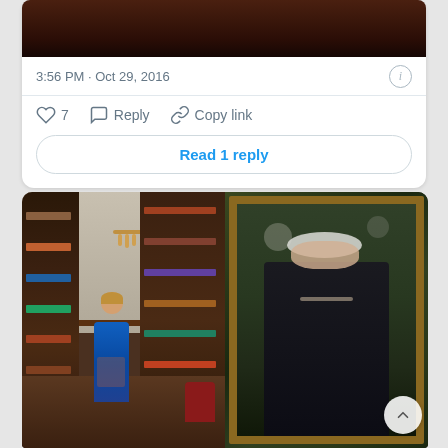[Figure (screenshot): Twitter/X tweet screenshot showing a dark-toned photo at the top (partially visible), timestamp '3:56 PM · Oct 29, 2016', info icon, like count of 7, Reply button, Copy link button, and a 'Read 1 reply' button]
3:56 PM · Oct 29, 2016
7  Reply  Copy link
Read 1 reply
[Figure (photo): Two side-by-side photos: left shows a woman in a colorful blue dress standing in a library with bookshelves and red armchairs; right shows an oil painting portrait of an elderly white-haired woman in a dark dress with a gold frame]